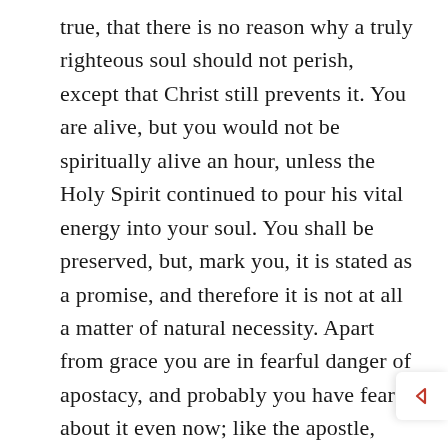true, that there is no reason why a truly righteous soul should not perish, except that Christ still prevents it. You are alive, but you would not be spiritually alive an hour, unless the Holy Spirit continued to pour his vital energy into your soul. You shall be preserved, but, mark you, it is stated as a promise, and therefore it is not at all a matter of natural necessity. Apart from grace you are in fearful danger of apostacy, and probably you have fears about it even now; like the apostle, who feared lest after having preached to others,